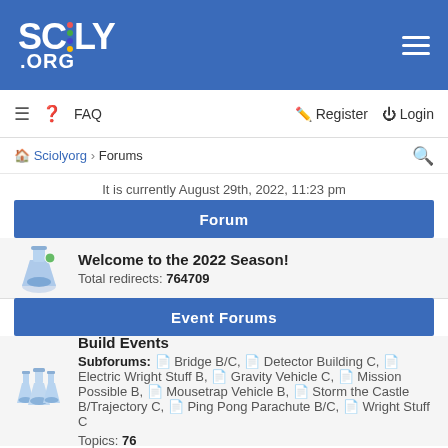SCIOLY.ORG
FAQ  Register  Login
Sciolyorg › Forums
It is currently August 29th, 2022, 11:23 pm
Forum
Welcome to the 2022 Season! Total redirects: 764709
Event Forums
Build Events
Subforums: Bridge B/C, Detector Building C, Electric Wright Stuff B, Gravity Vehicle C, Mission Possible B, Mousetrap Vehicle B, Storm the Castle B/Trajectory C, Ping Pong Parachute B/C, Wright Stuff C
Topics: 76